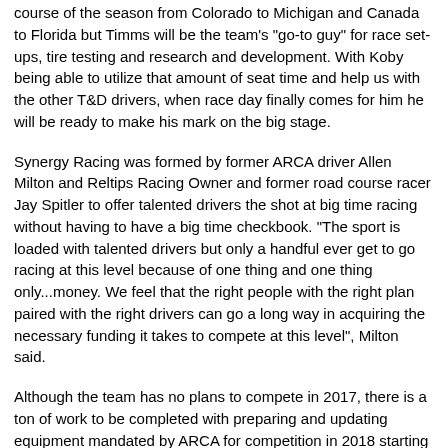course of the season from Colorado to Michigan and Canada to Florida but Timms will be the team's "go-to guy" for race set-ups, tire testing and research and development. With Koby being able to utilize that amount of seat time and help us with the other T&D drivers, when race day finally comes for him he will be ready to make his mark on the big stage.
Synergy Racing was formed by former ARCA driver Allen Milton and Reltips Racing Owner and former road course racer Jay Spitler to offer talented drivers the shot at big time racing without having to have a big time checkbook. "The sport is loaded with talented drivers but only a handful ever get to go racing at this level because of one thing and one thing only...money. We feel that the right people with the right plan paired with the right drivers can go a long way in acquiring the necessary funding it takes to compete at this level", Milton said.
Although the team has no plans to compete in 2017, there is a ton of work to be completed with preparing and updating equipment mandated by ARCA for competition in 2018 starting at the World Center of Racing, Daytona International Speedway. Timms will be along side an ARCA veteran in Daytona who will be announced soon. "By the time we get to Daytona for testing in January, Koby will be able to jump right in with a veteran super speedway driver and not miss a beat". Koby's marketing campaign will start immediately with his first test scheduled for early May at the team's